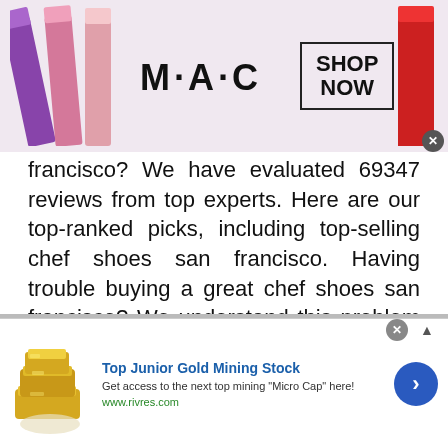[Figure (other): MAC Cosmetics advertisement banner with lipsticks on left and right, MAC logo in center, and SHOP NOW button in a box. Close X button at bottom right.]
francisco? We have evaluated 69347 reviews from top experts. Here are our top-ranked picks, including top-selling chef shoes san francisco. Having trouble buying a great chef shoes san francisco? We understand this problem because we have gone through the entire chef shoes san francisco research process already, which ... Read more
Reviews
[Figure (other): Bottom advertisement for Top Junior Gold Mining Stock showing gold bars image on left, ad text in center, blue arrow button on right. Close X and expand arrow at top right.]